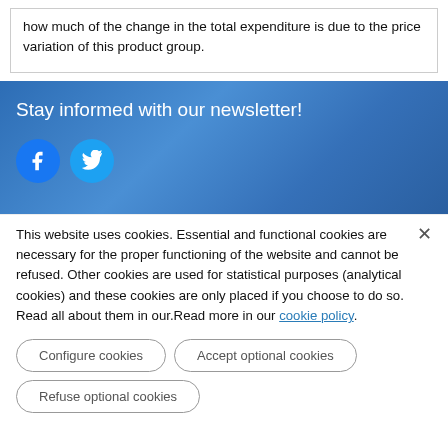how much of the change in the total expenditure is due to the price variation of this product group.
Stay informed with our newsletter!
[Figure (illustration): Facebook and Twitter social media icons on blue newsletter banner background]
This website uses cookies. Essential and functional cookies are necessary for the proper functioning of the website and cannot be refused. Other cookies are used for statistical purposes (analytical cookies) and these cookies are only placed if you choose to do so. Read all about them in our.Read more in our cookie policy.
Configure cookies
Accept optional cookies
Refuse optional cookies